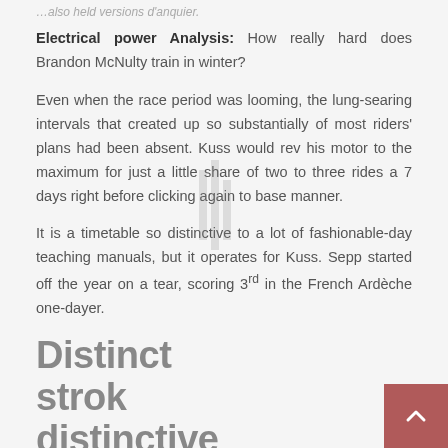…also held versions d'anquier.
Electrical power Analysis: How really hard does Brandon McNulty train in winter?
Even when the race period was looming, the lung-searing intervals that created up so substantially of most riders' plans had been absent. Kuss would rev his motor to the maximum for just a little share of two to three rides a 7 days right before clicking again to base manner.
It is a timetable so distinctive to a lot of fashionable-day teaching manuals, but it operates for Kuss. Sepp started off the year on a tear, scoring 3rd in the French Ardèche one-dayer.
Distinct strок distinctive individuals